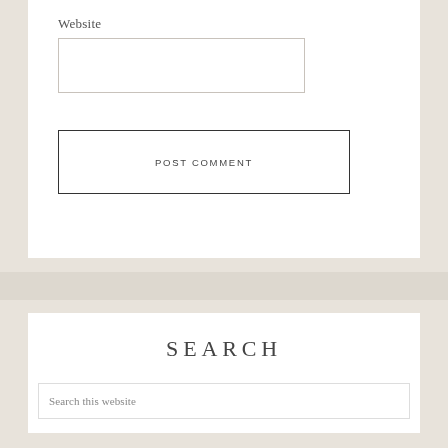Website
[Figure (other): Text input field for website URL]
POST COMMENT
SEARCH
Search this website